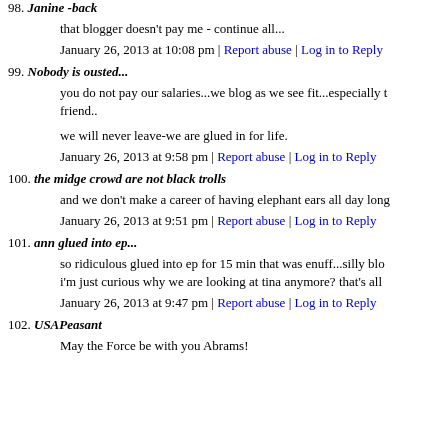98. Janine -back
that blogger doesn't pay me - continue all...
January 26, 2013 at 10:08 pm | Report abuse | Log in to Reply
99. Nobody is ousted...
you do not pay our salaries...we blog as we see fit...especially friend..
we will never leave-we are glued in for life.
January 26, 2013 at 9:58 pm | Report abuse | Log in to Reply
100. the midge crowd are not black trolls
and we don't make a career of having elephant ears all day lon...
January 26, 2013 at 9:51 pm | Report abuse | Log in to Reply
101. ann glued into ep...
so ridiculous glued into ep for 15 min that was enuff...silly blo... i'm just curious why we are looking at tina anymore? that's all
January 26, 2013 at 9:47 pm | Report abuse | Log in to Reply
102. USAPeasant
May the Force be with you Abrams!